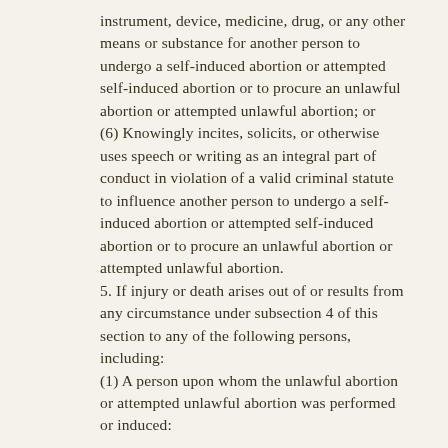instrument, device, medicine, drug, or any other means or substance for another person to undergo a self-induced abortion or attempted self-induced abortion or to procure an unlawful abortion or attempted unlawful abortion; or
(6) Knowingly incites, solicits, or otherwise uses speech or writing as an integral part of conduct in violation of a valid criminal statute to influence another person to undergo a self-induced abortion or attempted self-induced abortion or to procure an unlawful abortion or attempted unlawful abortion.
5. If injury or death arises out of or results from any circumstance under subsection 4 of this section to any of the following persons, including:
(1) A person upon whom the unlawful abortion or attempted unlawful abortion was performed or induced;